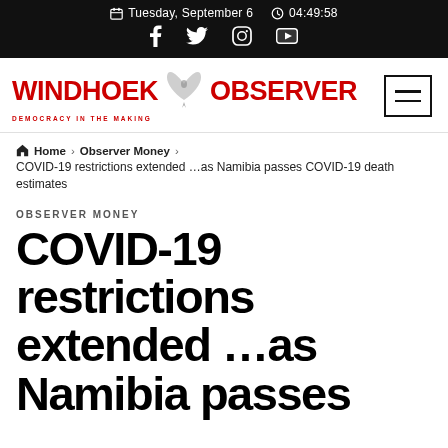Tuesday, September 6  04:49:58
[Figure (logo): Windhoek Observer newspaper logo with red bold text and stylized eagle/wing icon, tagline DEMOCRACY IN THE MAKING]
Home > Observer Money > COVID-19 restrictions extended ...as Namibia passes COVID-19 death estimates
OBSERVER MONEY
COVID-19 restrictions extended …as Namibia passes